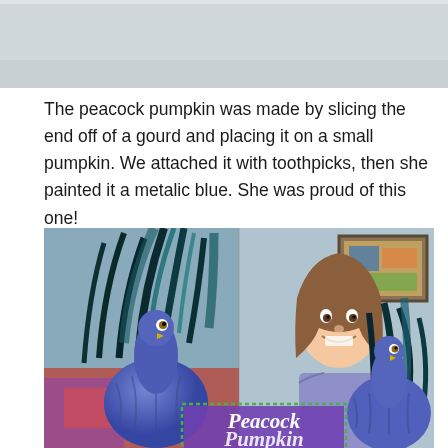[Figure (photo): Partial top image visible at very top of page, cropped]
The peacock pumpkin was made by slicing the end off of a gourd and placing it on a small pumpkin. We attached it with toothpicks, then she painted it a metalic blue. She was proud of this one!
[Figure (photo): Photo collage showing two metallic blue peacock pumpkins made from painted gourds with feathers, and a young girl smiling. A purple label reading 'Peacock Pumpkin' is visible at the bottom center.]